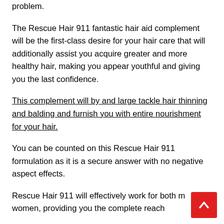problem.
The Rescue Hair 911 fantastic hair aid complement will be the first-class desire for your hair care that will additionally assist you acquire greater and more healthy hair, making you appear youthful and giving you the last confidence.
This complement will by and large tackle hair thinning and balding and furnish you with entire nourishment for your hair.
You can be counted on this Rescue Hair 911 formulation as it is a secure answer with no negative aspect effects.
Rescue Hair 911 will effectively work for both men and women, providing you the complete reach